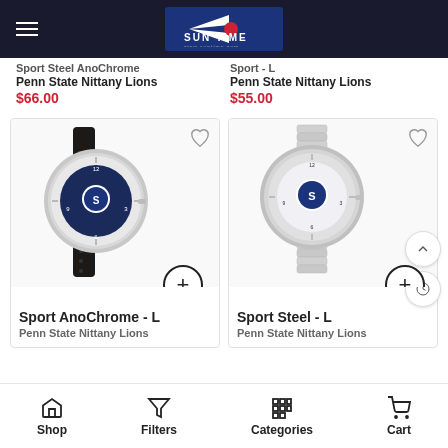Sun Time - www.suntime.com
Sport Steel AnoChrome — Sport — L
Penn State Nittany Lions
$66.00
Penn State Nittany Lions
$55.00
[Figure (photo): Watch with dark leather band and blue dial face with Penn State Nittany Lions logo — Sport AnoChrome - L]
Sport AnoChrome - L
Penn State Nittany Lions
[Figure (photo): Silver stainless steel watch with blue dial face featuring Penn State Nittany Lions logo — Sport Steel - L]
Sport Steel - L
Penn State Nittany Lions
Shop | Filters | Categories | Cart